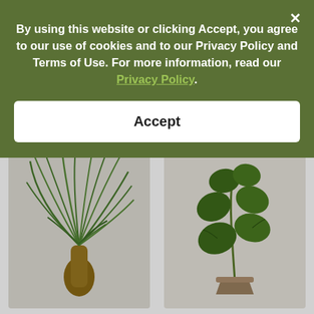By using this website or clicking Accept, you agree to our use of cookies and to our Privacy Policy and Terms of Use. For more information, read our Privacy Policy.
Accept
Spider Plant Reverse
$32
Select options
Pink Anthurium
$28
Select options
[Figure (photo): Spider plant with long green and white striped leaves growing from a wooden shelf with cylindrical pegs]
[Figure (photo): Pink anthurium plant on a wooden shelf with cylindrical pegs]
[Figure (photo): Ponytail palm plant with long drooping green leaves on a beige background]
[Figure (photo): Green leafy plant on a light beige background]